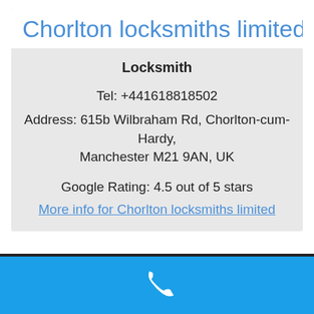Chorlton locksmiths limited
Locksmith
Tel: +441618818502
Address: 615b Wilbraham Rd, Chorlton-cum-Hardy, Manchester M21 9AN, UK
Google Rating: 4.5 out of 5 stars
More info for Chorlton locksmiths limited
[Figure (other): Blue phone call button bar at the bottom with a white phone handset icon]